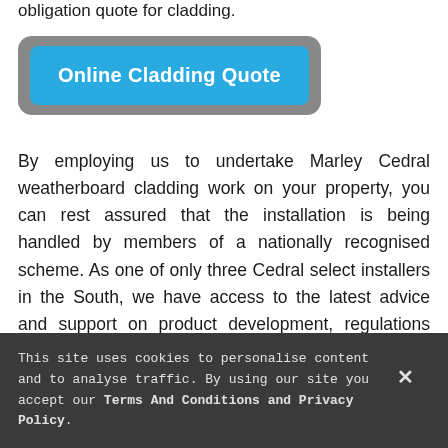obligation quote for cladding.
[Figure (other): Blue 'Online Cladding Quote' button with grey rounded border wrapper]
By employing us to undertake Marley Cedral weatherboard cladding work on your property, you can rest assured that the installation is being handled by members of a nationally recognised scheme. As one of only three Cedral select installers in the South, we have access to the latest advice and support on product development, regulations and codes of conduct.
This site uses cookies to personalise content and to analyse traffic. By using our site you accept our Terms And Conditions and Privacy Policy.